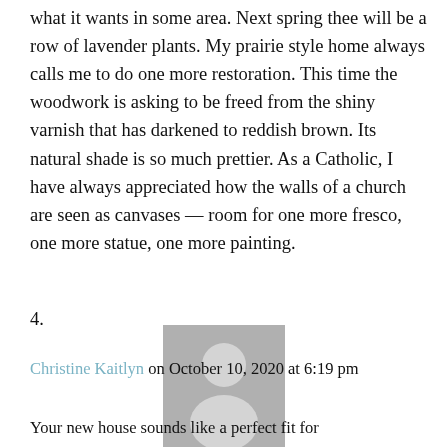what it wants in some area. Next spring thee will be a row of lavender plants. My prairie style home always calls me to do one more restoration. This time the woodwork is asking to be freed from the shiny varnish that has darkened to reddish brown. Its natural shade is so much prettier. As a Catholic, I have always appreciated how the walls of a church are seen as canvases — room for one more fresco, one more statue, one more painting.
4.
[Figure (illustration): Generic grey avatar/profile placeholder image showing silhouette of a person (head and shoulders) on a grey background]
Christine Kaitlyn on October 10, 2020 at 6:19 pm
Your new house sounds like a perfect fit for